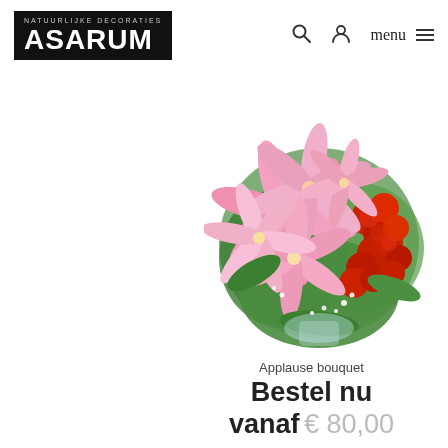ASARUM NATUURLIJKE DECORATIES
[Figure (photo): A floral bouquet arrangement featuring large pink stargazer lilies and red roses with green foliage, called the Applause bouquet.]
Applause bouquet
Bestel nu vanaf € 80,00